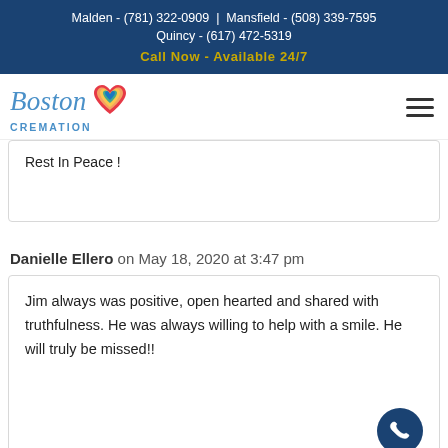Malden - (781) 322-0909 | Mansfield - (508) 339-7595 Quincy - (617) 472-5319 Call Now - Available 24/7
[Figure (logo): Boston Cremation logo with rainbow heart icon and script text]
Rest In Peace !
Danielle Ellero on May 18, 2020 at 3:47 pm
Jim always was positive, open hearted and shared with truthfulness. He was always willing to help with a smile. He will truly be missed!!